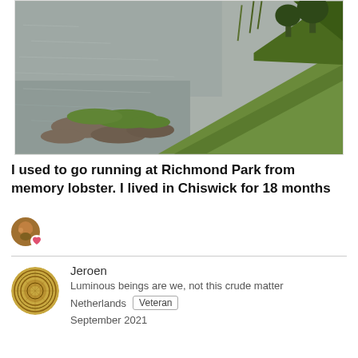[Figure (photo): Outdoor scene showing a river or lake shoreline with flat rocks and a grassy green hillside with trees and vegetation in the background.]
I used to go running at Richmond Park from memory lobster. I lived in Chiswick for 18 months
[Figure (photo): Small circular avatar with colorful image and a heart/like icon overlay]
Jeroen
Luminous beings are we, not this crude matter
Netherlands   Veteran
September 2021